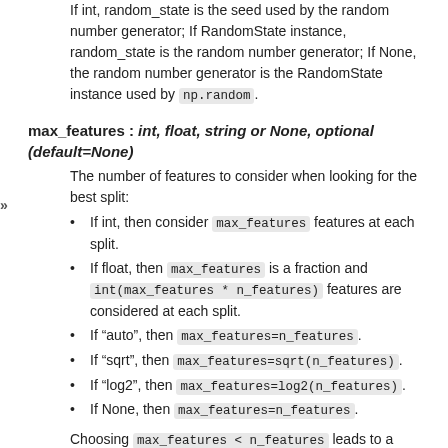optional (default=None)
If int, random_state is the seed used by the random number generator; If RandomState instance, random_state is the random number generator; If None, the random number generator is the RandomState instance used by np.random.
max_features : int, float, string or None, optional (default=None)
The number of features to consider when looking for the best split:
If int, then consider max_features features at each split.
If float, then max_features is a fraction and int(max_features * n_features) features are considered at each split.
If “auto”, then max_features=n_features.
If “sqrt”, then max_features=sqrt(n_features).
If “log2”, then max_features=log2(n_features).
If None, then max_features=n_features.
Choosing max_features < n_features leads to a